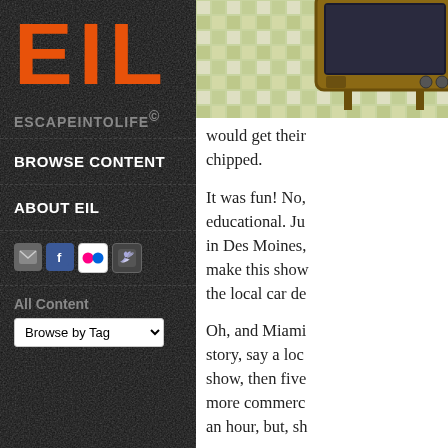[Figure (logo): EIL logo with large orange letters E, I, L on dark textured background]
ESCAPEINTOLIFE©
BROWSE CONTENT
ABOUT EIL
[Figure (illustration): Social media icons: email, Facebook, Flickr, Twitter]
All Content
Browse by Tag
[Figure (illustration): Partial screenshot of an article featuring a retro TV image on a tiled floor background]
would get their chipped.
It was fun! No, educational. Ju in Des Moines, make this show the local car de
Oh, and Miami story, say a loc show, then five more commerc an hour, but, sh
But look at this that blows me a calls from viewe They take that